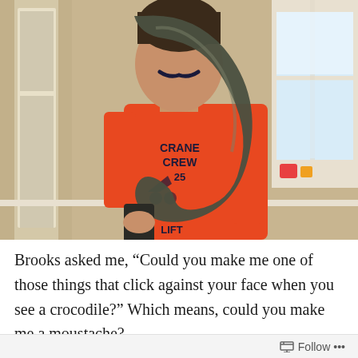[Figure (photo): A young boy wearing an orange 'Crane Crew 25' long-sleeve shirt with face paint (a moustache drawn on his face) holding up a large dark curved hook (resembling a question mark shape) in front of his face. He is standing indoors in a room with cream/beige walls and a window. There are toys visible on a windowsill in the background.]
Brooks asked me, “Could you make me one of those things that click against your face when you see a crocodile?” Which means, could you make me a moustache?
Follow